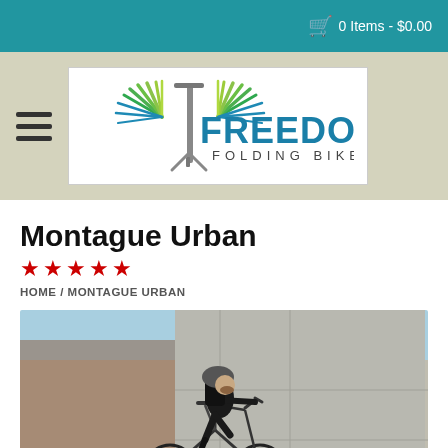0 Items - $0.00
[Figure (logo): Freedom Folding Bikes logo with stylized wings and bicycle fork graphic in blue and green]
Montague Urban
★★★★★
HOME / MONTAGUE URBAN
[Figure (photo): Man wearing black clothes and helmet riding a bicycle with panniers against a concrete/industrial wall background]